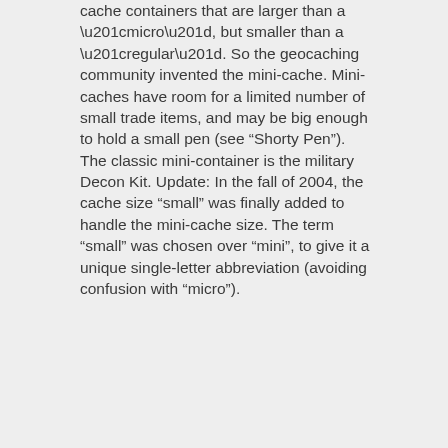cache containers that are larger than a “micro”, but smaller than a “regular”. So the geocaching community invented the mini-cache. Mini-caches have room for a limited number of small trade items, and may be big enough to hold a small pen (see “Shorty Pen”). The classic mini-container is the military Decon Kit. Update: In the fall of 2004, the cache size “small” was finally added to handle the mini-cache size. The term “small” was chosen over “mini”, to give it a unique single-letter abbreviation (avoiding confusion with “micro”).